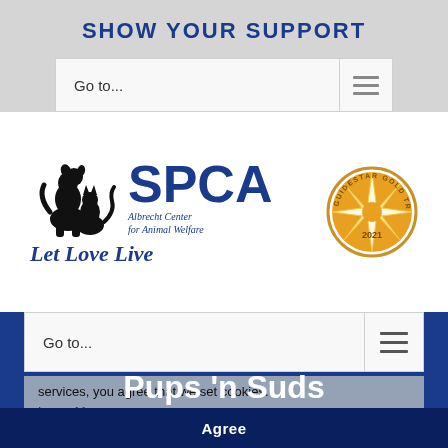SHOW YOUR SUPPORT
[Figure (screenshot): Navigation bar with 'Go to...' text field and hamburger menu icon, gray background]
[Figure (logo): SPCA Albrecht Center for Animal Welfare logo with dog and cat silhouette, 'Let Love Live' tagline in blue italic, and GuideStar Gold Transparency 2021 badge]
[Figure (screenshot): Second navigation bar with 'Go to...' text field and hamburger menu icon on dark blue background]
services, you agree that we set cookies.
Learn More
Pups 'n Suds
Agree